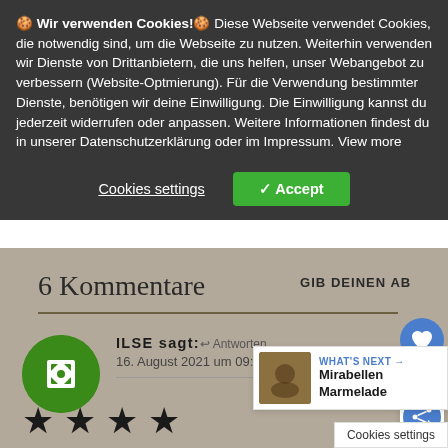🍪 Wir verwenden Cookies!🍪 Diese Webseite verwendet Cookies, die notwendig sind, um die Webseite zu nutzen. Weiterhin verwenden wir Dienste von Drittanbietern, die uns helfen, unser Webangebot zu verbessern (Website-Optmierung). Für die Verwendung bestimmter Dienste, benötigen wir deine Einwilligung. Die Einwilligung kannst du jederzeit widerrufen oder anpassen. Weitere Informationen findest du in unserer Datenschutzerklärung oder im Impressum. View more
Cookies settings   ✓ Accept
6 Kommentare
GIB DEINEN AB
ILSE sagt:
↩ Antworten
16. August 2021 um 09:40 Uhr
WHAT'S NEXT → Mirabellen Marmelade
Cookies settings